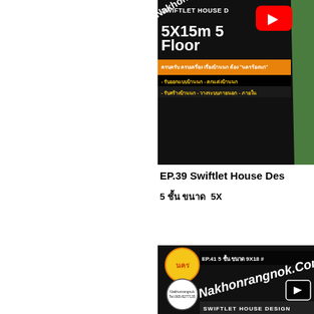[Figure (screenshot): YouTube video thumbnail for EP.39 Swiftlet House Design, showing 5X15m 5 Floor text on black background with Thai text, orange and dark strips, YouTube play button overlay, and green stripe on right side]
EP.39 Swiftlet House Des...
5 ชั้น ขนาด  5X...
[Figure (screenshot): YouTube video thumbnail for EP.41 5-floor swiftlet house 9X18, showing Nakhonrangnok.Com branding with two circular logos, diagonal brand text, and SWIFTLET HOUSE DESIGN bar at bottom with play button]